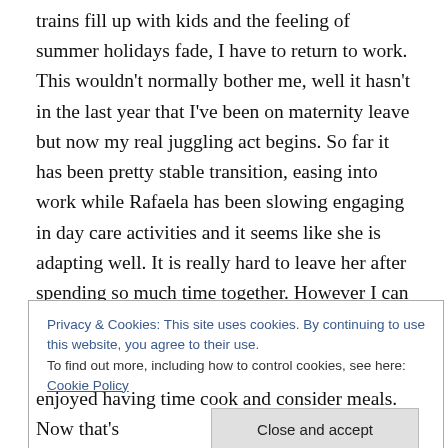trains fill up with kids and the feeling of summer holidays fade, I have to return to work. This wouldn't normally bother me, well it hasn't in the last year that I've been on maternity leave but now my real juggling act begins. So far it has been pretty stable transition, easing into work while Rafaela has been slowing engaging in day care activities and it seems like she is adapting well. It is really hard to leave her after spending so much time together. However I can already see her growing and learning so much. She still crawls commando style and is absolutely filthy when she gets home but she is almost up on to her feet and can
Privacy & Cookies: This site uses cookies. By continuing to use this website, you agree to their use.
To find out more, including how to control cookies, see here: Cookie Policy
Close and accept
enjoyed having time cook and consider meals. Now that's